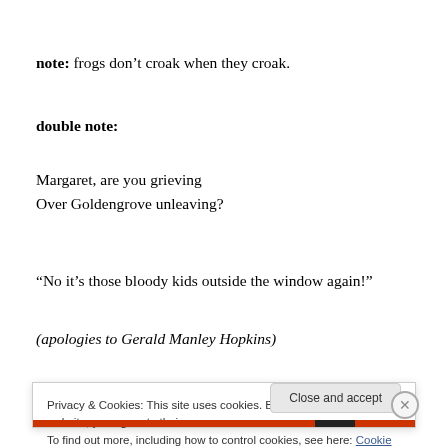note: frogs don't croak when they croak.
double note:
Margaret, are you grieving
Over Goldengrove unleaving?
“No it’s those bloody kids outside the window again!”
(apologies to Gerald Manley Hopkins)
Privacy & Cookies: This site uses cookies. By continuing to use this website, you agree to their use.
To find out more, including how to control cookies, see here: Cookie Policy